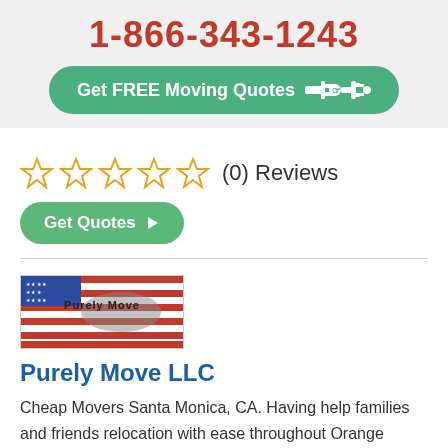1-866-343-1243
Get FREE Moving Quotes
(0) Reviews
Get Quotes
[Figure (logo): Purely Move company logo with American flag stripes and US map silhouette]
Purely Move LLC
Cheap Movers Santa Monica, CA. Having help families and friends relocation with ease throughout Orange County and Los Angeles for more than 5 years by providing excellent